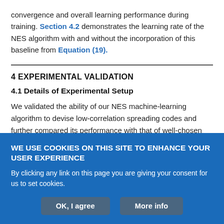convergence and overall learning performance during training. Section 4.2 demonstrates the learning rate of the NES algorithm with and without the incorporation of this baseline from Equation (19).
4 EXPERIMENTAL VALIDATION
4.1 Details of Experimental Setup
We validated the ability of our NES machine-learning algorithm to devise low-correlation spreading codes and further compared its performance with that of well-chosen families of equal-length Gold
WE USE COOKIES ON THIS SITE TO ENHANCE YOUR USER EXPERIENCE
By clicking any link on this page you are giving your consent for us to set cookies.